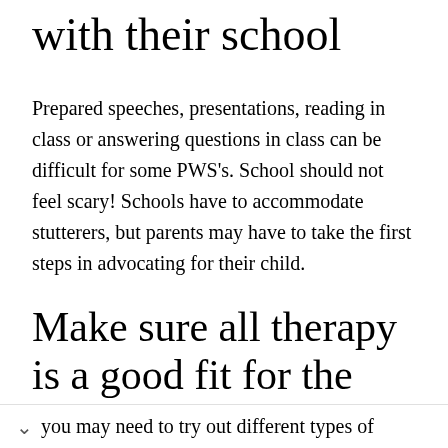with their school
Prepared speeches, presentations, reading in class or answering questions in class can be difficult for some PWS's. School should not feel scary! Schools have to accommodate stutterers, but parents may have to take the first steps in advocating for their child.
Make sure all therapy is a good fit for the PWS
Not all speech language pathologists have adequate training to work with fluency disorders, you may need to try out different types of